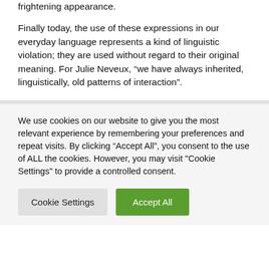somewhat marginal woman, with a frightening appearance.
Finally today, the use of these expressions in our everyday language represents a kind of linguistic violation; they are used without regard to their original meaning. For Julie Neveux, “we have always inherited, linguistically, old patterns of interaction”.
We use cookies on our website to give you the most relevant experience by remembering your preferences and repeat visits. By clicking “Accept All”, you consent to the use of ALL the cookies. However, you may visit "Cookie Settings" to provide a controlled consent.